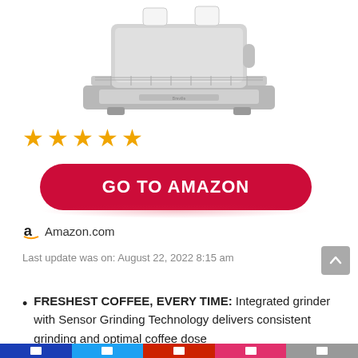[Figure (photo): Bottom portion of a stainless steel espresso machine with two white cups on top, shown against a white background]
★★★★★
GO TO AMAZON
Amazon.com
Last update was on: August 22, 2022 8:15 am
FRESHEST COFFEE, EVERY TIME: Integrated grinder with Sensor Grinding Technology delivers consistent grinding and optimal coffee dose